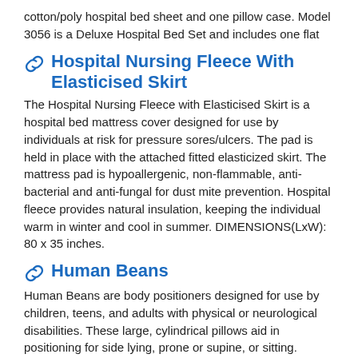cotton/poly hospital bed sheet and one pillow case. Model 3056 is a Deluxe Hospital Bed Set and includes one flat
Hospital Nursing Fleece With Elasticised Skirt
The Hospital Nursing Fleece with Elasticised Skirt is a hospital bed mattress cover designed for use by individuals at risk for pressure sores/ulcers. The pad is held in place with the attached fitted elasticized skirt. The mattress pad is hypoallergenic, non-flammable, anti-bacterial and anti-fungal for dust mite prevention. Hospital fleece provides natural insulation, keeping the individual warm in winter and cool in summer. DIMENSIONS(LxW): 80 x 35 inches.
Human Beans
Human Beans are body positioners designed for use by children, teens, and adults with physical or neurological disabilities. These large, cylindrical pillows aid in positioning for side lying, prone or supine, or sitting. Available in a Sleeping Bean (adult), Teen Bean, or Kidney Bean (infant or children), all models are hypo-allergenic